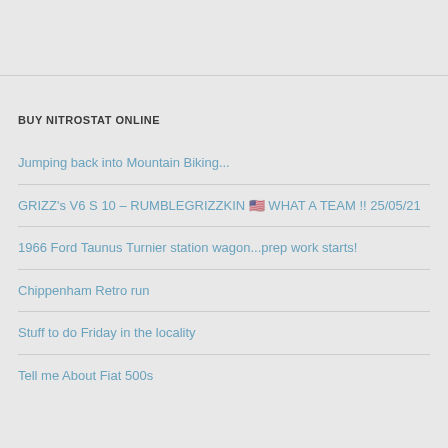BUY NITROSTAT ONLINE
Jumping back into Mountain Biking...
GRIZZ's V6 S 10 – RUMBLEGRIZZKIN 🇺🇸 WHAT A TEAM !! 25/05/21
1966 Ford Taunus Turnier station wagon...prep work starts!
Chippenham Retro run
Stuff to do Friday in the locality
Tell me About Fiat 500s